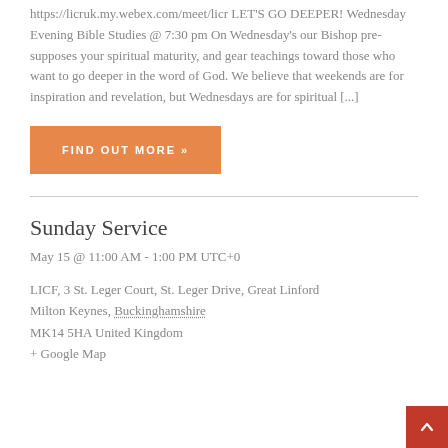https://licruk.my.webex.com/meet/licr LET'S GO DEEPER! Wednesday Evening Bible Studies @ 7:30 pm On Wednesday's our Bishop pre-supposes your spiritual maturity, and gear teachings toward those who want to go deeper in the word of God. We believe that weekends are for inspiration and revelation, but Wednesdays are for spiritual [...]
FIND OUT MORE »
Sunday Service
May 15 @ 11:00 AM - 1:00 PM UTC+0
LICF, 3 St. Leger Court, St. Leger Drive, Great Linford Milton Keynes, Buckinghamshire MK14 5HA United Kingdom + Google Map